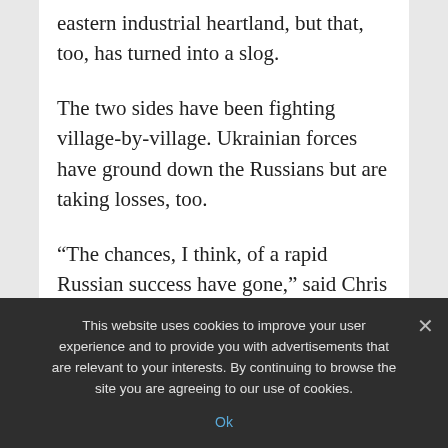eastern industrial heartland, but that, too, has turned into a slog.
The two sides have been fighting village-by-village. Ukrainian forces have ground down the Russians but are taking losses, too.
“The chances, I think, of a rapid Russian success have gone,” said Chris Tuck, a land warfare expert at King’s College, London. “The Russian capacity for offensive operations
This website uses cookies to improve your user experience and to provide you with advertisements that are relevant to your interests. By continuing to browse the site you are agreeing to our use of cookies.
Ok